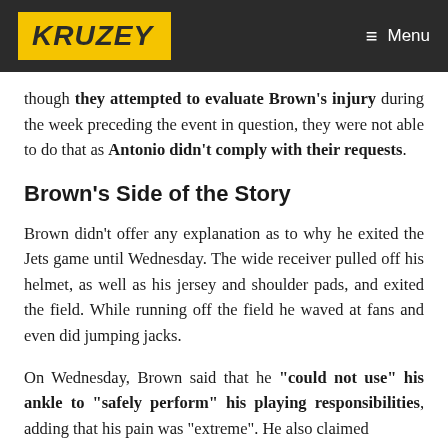KRUZEY — Menu
though they attempted to evaluate Brown's injury during the week preceding the event in question, they were not able to do that as Antonio didn't comply with their requests.
Brown's Side of the Story
Brown didn't offer any explanation as to why he exited the Jets game until Wednesday. The wide receiver pulled off his helmet, as well as his jersey and shoulder pads, and exited the field. While running off the field he waved at fans and even did jumping jacks.
On Wednesday, Brown said that he "could not use" his ankle to "safely perform" his playing responsibilities, adding that his pain was "extreme". He also claimed